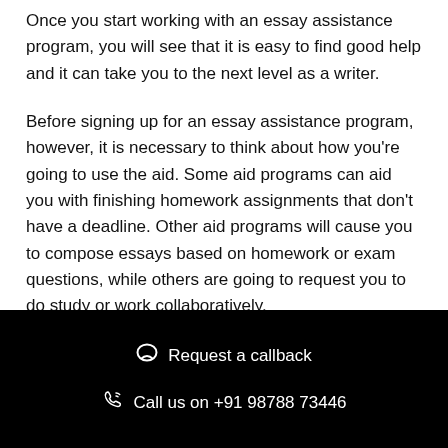Once you start working with an essay assistance program, you will see that it is easy to find good help and it can take you to the next level as a writer.
Before signing up for an essay assistance program, however, it is necessary to think about how you're going to use the aid. Some aid programs can aid you with finishing homework assignments that don't have a deadline. Other aid programs will cause you to compose essays based on homework or exam questions, while others are going to request you to do study or work collaboratively.
Request a callback
Call us on +91 98788 73446